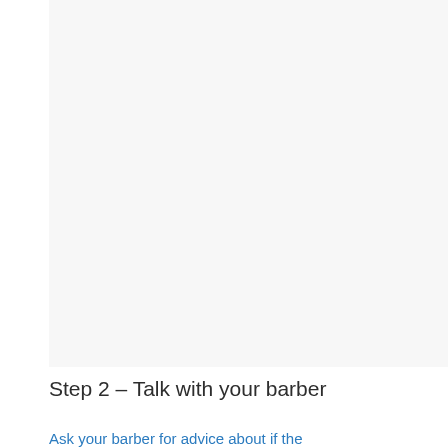[Figure (photo): Large light gray rectangular area representing a photograph placeholder, occupying most of the upper portion of the page.]
Step 2 – Talk with your barber
Ask your barber for advice about if the